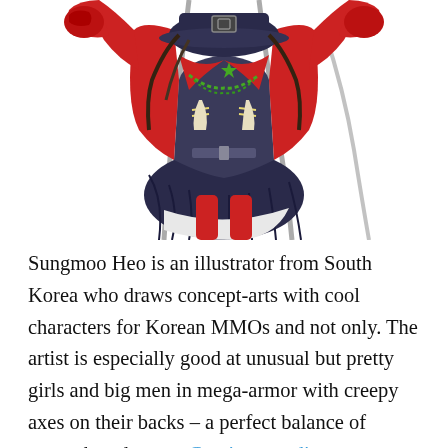[Figure (illustration): Anime-style illustration of a female character wearing a red jacket, dark cape/skirt with military-style accents, green chain necklace, green star badge, and red boots. The character is shown from above in a dynamic pose against a white background.]
Sungmoo Heo is an illustrator from South Korea who draws concept-arts with cool characters for Korean MMOs and not only. The artist is especially good at unusual but pretty girls and big men in mega-armor with creepy axes on their backs – a perfect balance of strength and grace. Continue reading »